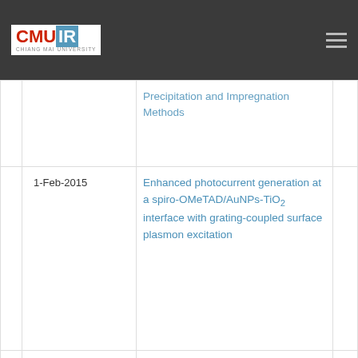CMU IR - Chiang Mai University Institutional Repository
| Date | Title |
| --- | --- |
|  | Precipitation and Impregnation Methods |
| 1-Feb-2015 | Enhanced photocurrent generation at a spiro-OMeTAD/AuNPs-TiO2 interface with grating-coupled surface plasmon excitation |
| 9-Sep-2010 | Enhanced photocurrent generation in nanostructured chromophores/carbon nanotubes hybrid layer by laye... |